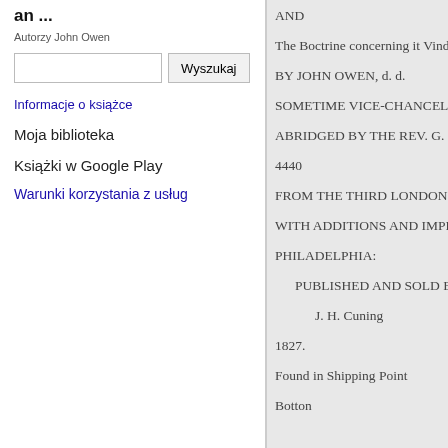an ...
Autorzy John Owen
Wyszukaj
Informacje o książce
Moja biblioteka
Książki w Google Play
Warunki korzystania z usług
AND
The Boctrine concerning it Vindi
BY JOHN OWEN, d. d.
SOMETIME VICE-CHANCEL
ABRIDGED BY THE REV. G. F
4440
FROM THE THIRD LONDON
WITH ADDITIONS AND IMPR
PHILADELPHIA:
PUBLISHED AND SOLD B
J. H. Cuning
1827.
Found in Shipping Point
Botton